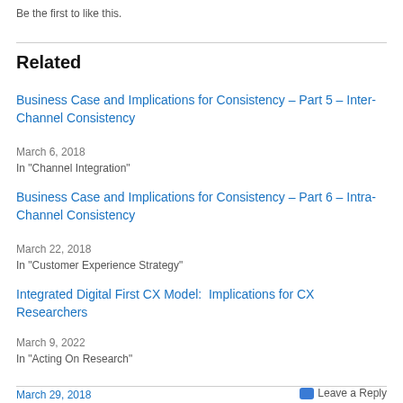Be the first to like this.
Related
Business Case and Implications for Consistency – Part 5 – Inter-Channel Consistency
March 6, 2018
In "Channel Integration"
Business Case and Implications for Consistency – Part 6 – Intra-Channel Consistency
March 22, 2018
In "Customer Experience Strategy"
Integrated Digital First CX Model:  Implications for CX Researchers
March 9, 2022
In "Acting On Research"
March 29, 2018   Leave a Reply